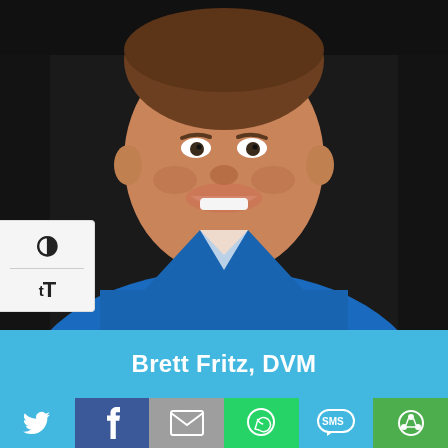[Figure (photo): Headshot of a smiling man wearing a blue collared shirt against a dark background. The photo shows his face and upper torso.]
Brett Fritz, DVM
[Figure (infographic): Social media share buttons row: Twitter (bird icon, light blue), Facebook (f icon, dark blue), Email (envelope icon, gray), WhatsApp (phone icon, green), SMS (SMS bubble icon, light blue), other share icon (green)]